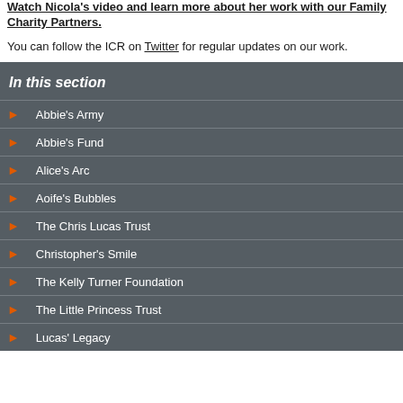Watch Nicola's video and learn more about her work with our Family Charity Partners.
You can follow the ICR on Twitter for regular updates on our work.
In this section
Abbie's Army
Abbie's Fund
Alice's Arc
Aoife's Bubbles
The Chris Lucas Trust
Christopher's Smile
The Kelly Turner Foundation
The Little Princess Trust
Lucas' Legacy